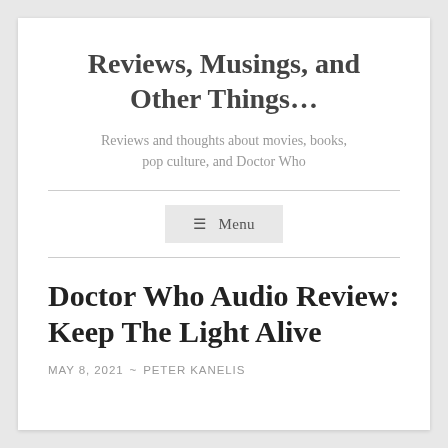Reviews, Musings, and Other Things...
Reviews and thoughts about movies, books, pop culture, and Doctor Who
☰ Menu
Doctor Who Audio Review: Keep The Light Alive
MAY 8, 2021 ~ PETER KANELIS